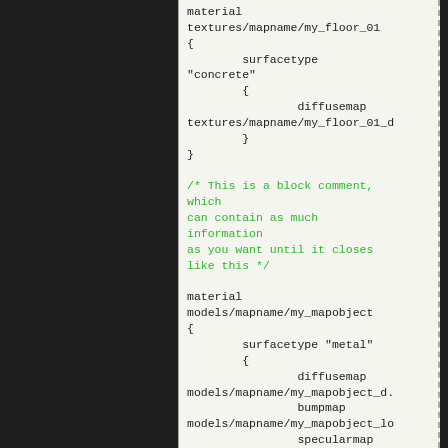[Figure (screenshot): Code snippet showing material definitions in a game engine material script format. Black left panel, right panel shows monospace code on light background with dashed border. Code includes material definitions with surfacetype, diffusemap, bumpmap, specularmap properties and a block comment in green.]